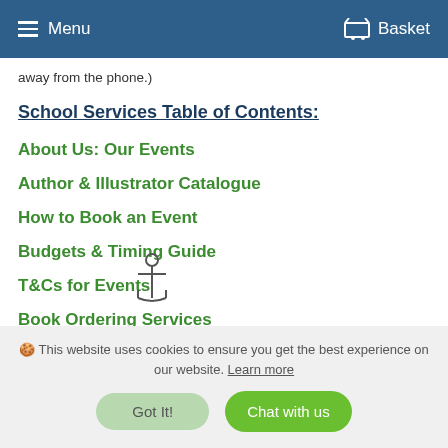Menu  Basket
away from the phone.)
School Services Table of Contents:
About Us: Our Events
Author & Illustrator Catalogue
How to Book an Event
Budgets & Timing Guide
T&Cs for Events
Book Ordering Services
[Figure (illustration): Anchor icon/symbol]
🍪 This website uses cookies to ensure you get the best experience on our website. Learn more  Got It!  Chat with us